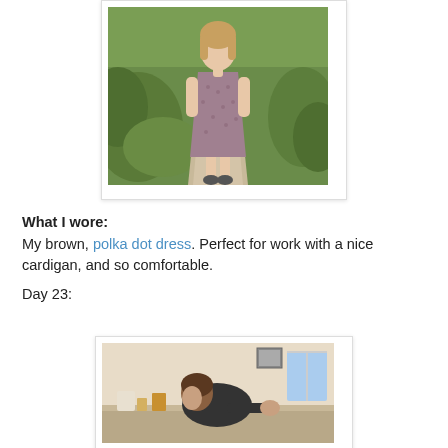[Figure (photo): Woman in a brown polka dot dress standing on a garden path, surrounded by green plants and shrubs.]
What I wore:
My brown, polka dot dress. Perfect for work with a nice cardigan, and so comfortable.
Day 23:
[Figure (photo): Person leaning over a counter or desk in a kitchen or indoor setting, wearing a dark sleeveless top.]